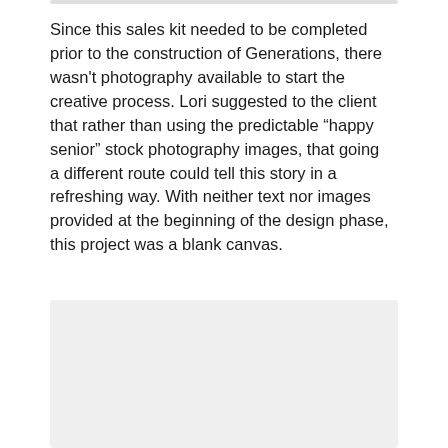Since this sales kit needed to be completed prior to the construction of Generations, there wasn't photography available to start the creative process. Lori suggested to the client that rather than using the predictable “happy senior” stock photography images, that going a different route could tell this story in a refreshing way. With neither text nor images provided at the beginning of the design phase, this project was a blank canvas.
[Figure (photo): A light gray placeholder image rectangle, partially visible at bottom of page.]